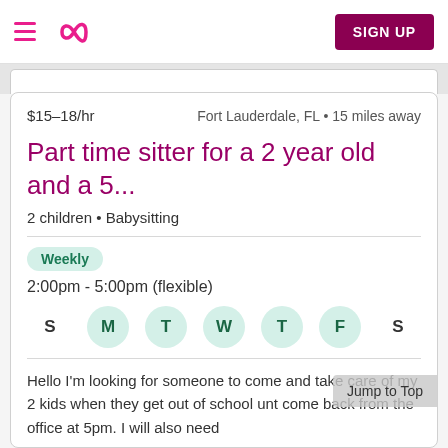Sittercity app navigation with hamburger menu, infinity logo, and SIGN UP button
$15–18/hr   Fort Lauderdale, FL • 15 miles away
Part time sitter for a 2 year old and a 5...
2 children • Babysitting
Weekly
2:00pm - 5:00pm (flexible)
S  M  T  W  T  F  S (M, T, W, T, F active)
Hello I'm looking for someone to come and take care of my 2 kids when they get out of school unt come back from the office at 5pm. I will also need